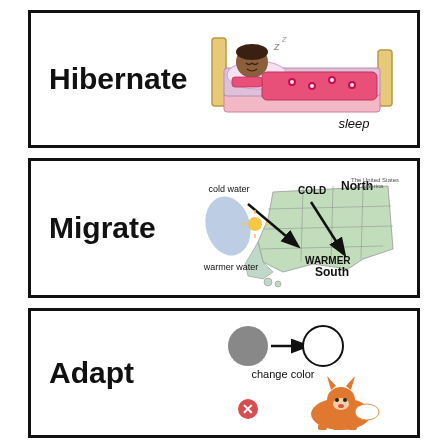[Figure (illustration): Flashcard with word 'Hibernate' on left, illustration of child sleeping in bed on right, with label 'sleep' below illustration]
[Figure (illustration): Flashcard with word 'Migrate' on left, illustration of US map showing migration from cold water/North to warmer water/South with arrows]
[Figure (illustration): Flashcard with word 'Adapt' on left, illustration showing a gray circle with arrow to white circle labeled 'change color', and a fox below with an X symbol]